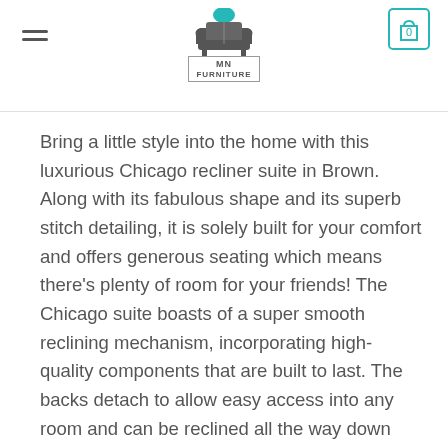[Figure (logo): MN Furniture store logo with teal sofa/chair icon and hamburger menu, plus shopping cart icon]
Bring a little style into the home with this luxurious Chicago recliner suite in Brown. Along with its fabulous shape and its superb stitch detailing, it is solely built for your comfort and offers generous seating which means there’s plenty of room for your friends! The Chicago suite boasts of a super smooth reclining mechanism, incorporating high-quality components that are built to last. The backs detach to allow easy access into any room and can be reclined all the way down into a lying down position. These incredibly comfortable sofas are made from the highest quality hardwood, while padded arms and seriously comfortable pocket sprung allow you to enjoy the superb support, comfort and quality of